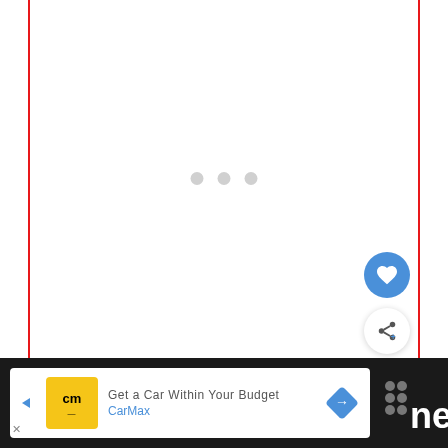[Figure (screenshot): Loading spinner with three gray dots centered in a white content area bordered by red vertical lines on left and right]
[Figure (screenshot): Blue circular heart/favorite button]
[Figure (screenshot): White circular share button with share icon]
[Figure (screenshot): What's Next card showing thumbnail image of a food dish with label 'WHAT'S NEXT →' and text 'What happens if you eat...']
[Figure (screenshot): Advertisement banner: 'Get a Car Within Your Budget' by CarMax, with yellow CarMax logo, blue navigation arrow icon, shown on dark background bar at bottom of page]